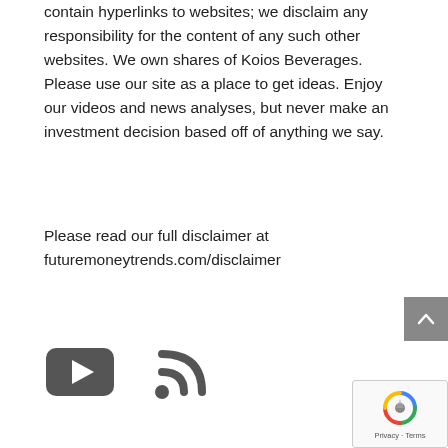contain hyperlinks to websites; we disclaim any responsibility for the content of any such other websites. We own shares of Koios Beverages. Please use our site as a place to get ideas. Enjoy our videos and news analyses, but never make an investment decision based off of anything we say.
Please read our full disclaimer at futuremoneytrends.com/disclaimer
[Figure (illustration): YouTube play button icon (dark grey rounded rectangle with white triangle) and RSS feed icon (dark grey wifi-style signal waves with dot)]
[Figure (illustration): Google reCAPTCHA badge with spinning arrows logo and Privacy - Terms text]